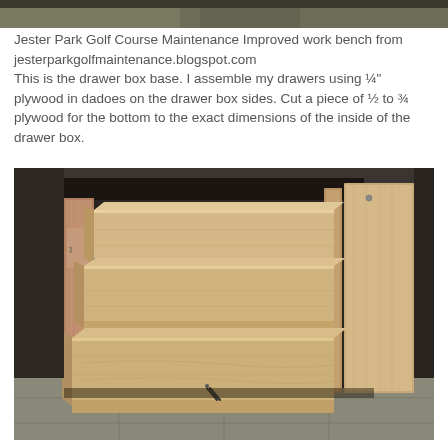[Figure (photo): Partial photo strip at the top of the page showing a dark workshop background.]
Jester Park Golf Course Maintenance Improved work bench from jesterparkgolfmaintenance.blogspot.com
This is the drawer box base. I assemble my drawers using ¼" plywood in dadoes on the drawer box sides. Cut a piece of ½ to ¾ plywood for the bottom to the exact dimensions of the inside of the drawer box.
[Figure (photo): Photograph of three open plywood drawer boxes pulled out from a workbench cabinet, set in a workshop environment. The drawers are made from light-colored pine plywood and are stacked/cascading outward. A plywood panel leans against the right side of the cabinet. Concrete floor and dark workshop background visible.]